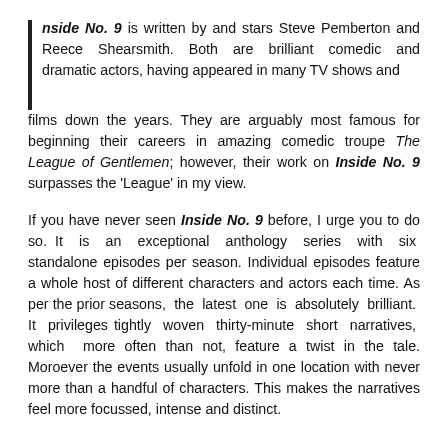nside No. 9 is written by and stars Steve Pemberton and Reece Shearsmith. Both are brilliant comedic and dramatic actors, having appeared in many TV shows and films down the years. They are arguably most famous for beginning their careers in amazing comedic troupe The League of Gentlemen; however, their work on Inside No. 9 surpasses the 'League' in my view.
If you have never seen Inside No. 9 before, I urge you to do so. It is an exceptional anthology series with six standalone episodes per season. Individual episodes feature a whole host of different characters and actors each time. As per the prior seasons, the latest one is absolutely brilliant. It privileges tightly woven thirty-minute short narratives, which more often than not, feature a twist in the tale. Moroever the events usually unfold in one location with never more than a handful of characters. This makes the narratives feel more focussed, intense and distinct.